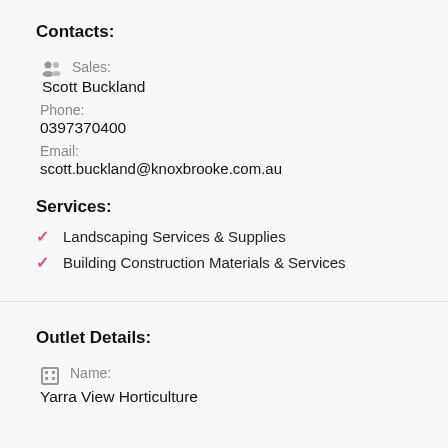Contacts:
Sales:
Scott Buckland
Phone:
0397370400
Email:
scott.buckland@knoxbrooke.com.au
Services:
Landscaping Services & Supplies
Building Construction Materials & Services
Outlet Details:
Name:
Yarra View Horticulture